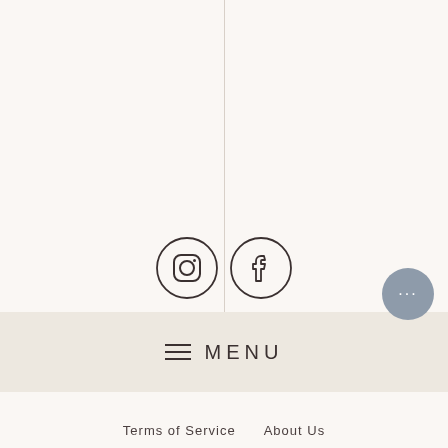[Figure (illustration): Instagram icon in a circle outline]
[Figure (illustration): Facebook icon in a circle outline]
[Figure (screenshot): Mobile bottom navigation bar with hamburger menu icon and MENU text on a beige/tan background]
Terms of Service   About Us